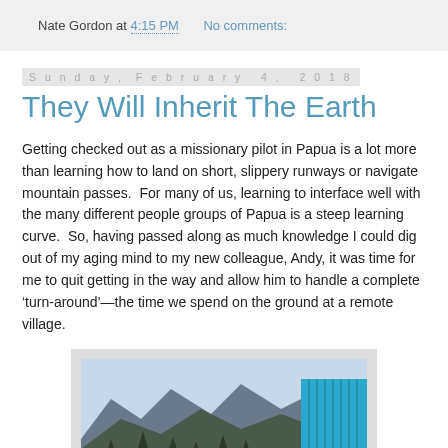Nate Gordon at 4:15 PM    No comments:
Sunday, February 4, 2018
They Will Inherit The Earth
Getting checked out as a missionary pilot in Papua is a lot more than learning how to land on short, slippery runways or navigate mountain passes.  For many of us, learning to interface well with the many different people groups of Papua is a steep learning curve.  So, having passed along as much knowledge I could dig out of my aging mind to my new colleague, Andy, it was time for me to quit getting in the way and allow him to handle a complete ‘turn-around’—the time we spend on the ground at a remote village.
[Figure (photo): Mountain landscape with trees in foreground and a bright blue corrugated metal structure on the right side, taken in a remote Papua village setting.]